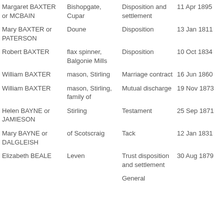| Name | Description | Document Type | Date | Court |
| --- | --- | --- | --- | --- |
| Margaret BAXTER or MCBAIN | Bishopgate, Cupar | Disposition and settlement | 11 Apr 1895 | Cupar SC |
| Mary BAXTER or PATERSON | Doune | Disposition | 13 Jan 1811 | Dunblane SC |
| Robert BAXTER | flax spinner, Balgonie Mills | Disposition | 10 Oct 1834 | Cupar SC |
| William BAXTER | mason, Stirling | Marriage contract | 16 Jun 1860 | Stirling SC |
| William BAXTER | mason, Stirling, family of | Mutual discharge | 19 Nov 1873 | Stirling SC |
| Helen BAYNE or JAMIESON | Stirling | Testament | 25 Sep 1871 | Stirling SC |
| Mary BAYNE or DALGLEISH | of Scotscraig | Tack | 12 Jan 1831 | Cupar SC |
| Elizabeth BEALE | Leven | Trust disposition and settlement | 30 Aug 1879 | Cupar SC |
|  |  | General |  |  |